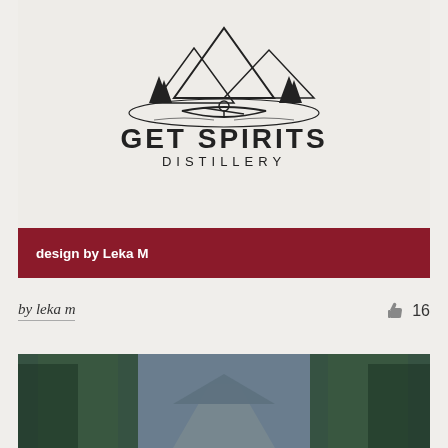[Figure (logo): Get Spirits Distillery logo with canoe and mountain scene illustration, black on light beige background]
design by Leka M
by leka m
16
[Figure (photo): Blurred road through dense green forest with dark overcast sky, motion blur effect]